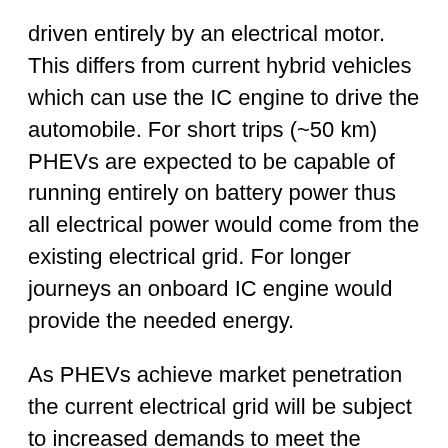driven entirely by an electrical motor. This differs from current hybrid vehicles which can use the IC engine to drive the automobile. For short trips (~50 km) PHEVs are expected to be capable of running entirely on battery power thus all electrical power would come from the existing electrical grid. For longer journeys an onboard IC engine would provide the needed energy.
As PHEVs achieve market penetration the current electrical grid will be subject to increased demands to meet the additional capacity of charging the PHEV batteries. Half of the US grid electricity is generated from burning coal a highly carbon intensive fuel source. In order to drastically reduce GHG emissions a transformation of the grid to renewable sources is required. Wind and photovoltaic energy systems are the fastest growing renewables that can generate electricity and displace carbon intense sources